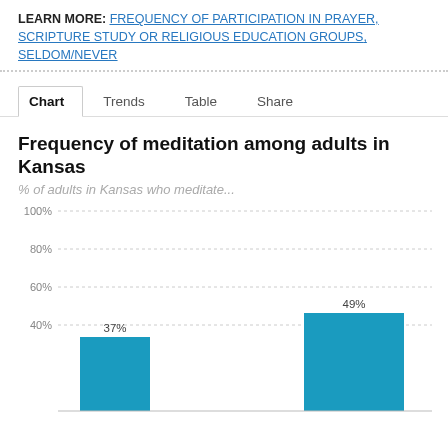LEARN MORE: FREQUENCY OF PARTICIPATION IN PRAYER, SCRIPTURE STUDY OR RELIGIOUS EDUCATION GROUPS, SELDOM/NEVER
Chart | Trends | Table | Share
Frequency of meditation among adults in Kansas
% of adults in Kansas who meditate...
[Figure (bar-chart): Frequency of meditation among adults in Kansas]